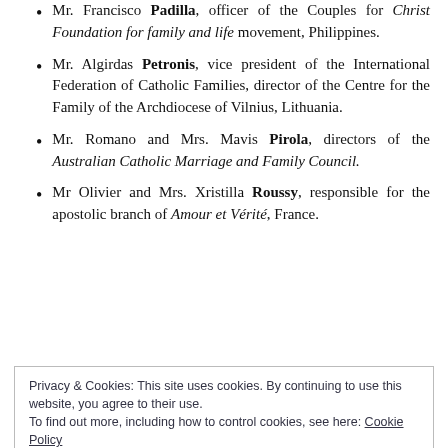Mr. Francisco Padilla, officer of the Couples for Christ Foundation for family and life movement, Philippines.
Mr. Algirdas Petronis, vice president of the International Federation of Catholic Families, director of the Centre for the Family of the Archdiocese of Vilnius, Lithuania.
Mr. Romano and Mrs. Mavis Pirola, directors of the Australian Catholic Marriage and Family Council.
Mr Olivier and Mrs. Xristilla Roussy, responsible for the apostolic branch of Amour et Vérité, France.
Privacy & Cookies: This site uses cookies. By continuing to use this website, you agree to their use. To find out more, including how to control cookies, see here: Cookie Policy
Close and accept
Mrs. Jeannette Touré, National president of the ...